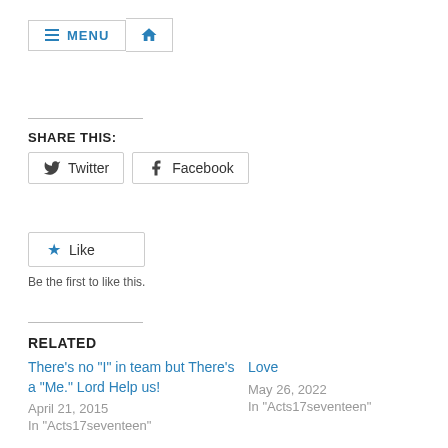MENU [home]
SHARE THIS:
Twitter  Facebook
Like
Be the first to like this.
RELATED
There's no "I" in team but There's a "Me." Lord Help us!
April 21, 2015
In "Acts17seventeen"
Love
May 26, 2022
In "Acts17seventeen"